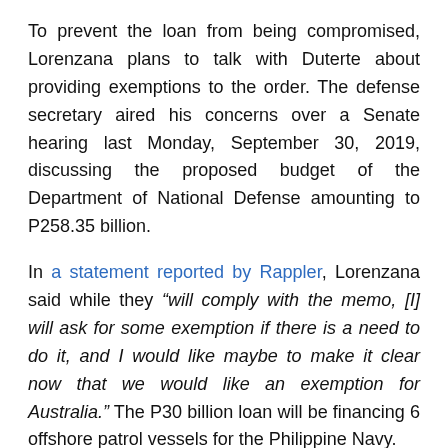To prevent the loan from being compromised, Lorenzana plans to talk with Duterte about providing exemptions to the order. The defense secretary aired his concerns over a Senate hearing last Monday, September 30, 2019, discussing the proposed budget of the Department of National Defense amounting to P258.35 billion.
In a statement reported by Rappler, Lorenzana said while they “will comply with the memo, [I] will ask for some exemption if there is a need to do it, and I would like maybe to make it clear now that we would like an exemption for Australia.” The P30 billion loan will be financing 6 offshore patrol vessels for the Philippine Navy.
Under the agreement with the Australian government and the Australian-based shipbuilding company Austal, the Philippines will only be required to shoulder the initial 10% of the total price. Read more at the transcription amount of